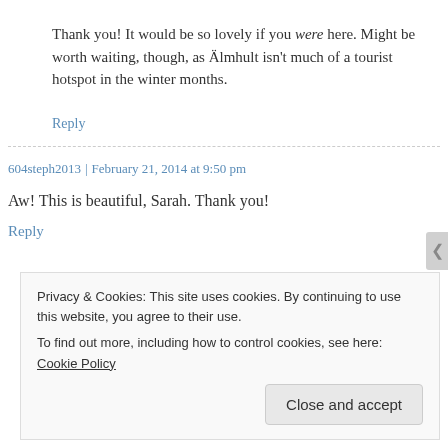Thank you! It would be so lovely if you were here. Might be worth waiting, though, as Älmhult isn't much of a tourist hotspot in the winter months.
Reply
604steph2013 | February 21, 2014 at 9:50 pm
Aw! This is beautiful, Sarah. Thank you!
Reply
Privacy & Cookies: This site uses cookies. By continuing to use this website, you agree to their use. To find out more, including how to control cookies, see here: Cookie Policy